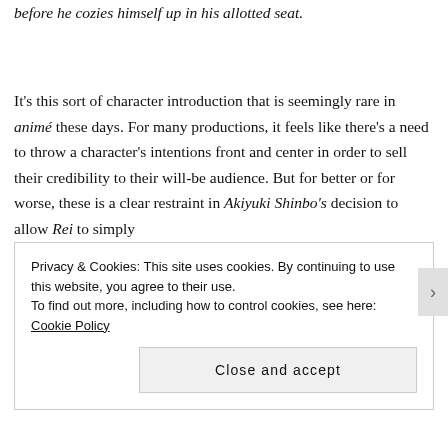before he cozies himself up in his allotted seat.
It's this sort of character introduction that is seemingly rare in animé these days. For many productions, it feels like there's a need to throw a character's intentions front and center in order to sell their credibility to their will-be audience. But for better or for worse, these is a clear restraint in Akiyuki Shinbo's decision to allow Rei to simply
Privacy & Cookies: This site uses cookies. By continuing to use this website, you agree to their use.
To find out more, including how to control cookies, see here: Cookie Policy
Close and accept